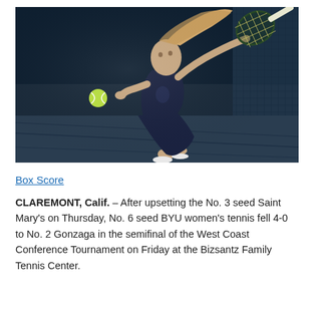[Figure (photo): A female tennis player in a dark navy dress/uniform lunging forward to hit a tennis ball with her racket. She has a blonde ponytail flying behind her. The background is a dark blue tennis court wall. A neon green tennis ball is visible in front of her.]
Box Score
CLAREMONT, Calif. – After upsetting the No. 3 seed Saint Mary's on Thursday, No. 6 seed BYU women's tennis fell 4-0 to No. 2 Gonzaga in the semifinal of the West Coast Conference Tournament on Friday at the Bizsantz Family Tennis Center.